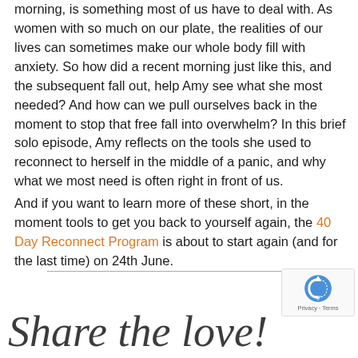morning, is something most of us have to deal with. As women with so much on our plate, the realities of our lives can sometimes make our whole body fill with anxiety. So how did a recent morning just like this, and the subsequent fall out, help Amy see what she most needed? And how can we pull ourselves back in the moment to stop that free fall into overwhelm? In this brief solo episode, Amy reflects on the tools she used to reconnect to herself in the middle of a panic, and why what we most need is often right in front of us.
And if you want to learn more of these short, in the moment tools to get you back to yourself again, the 40 Day Reconnect Program is about to start again (and for the last time) on 24th June.
[Figure (illustration): Handwritten cursive signature text reading 'Share the love!' with a horizontal divider line above it]